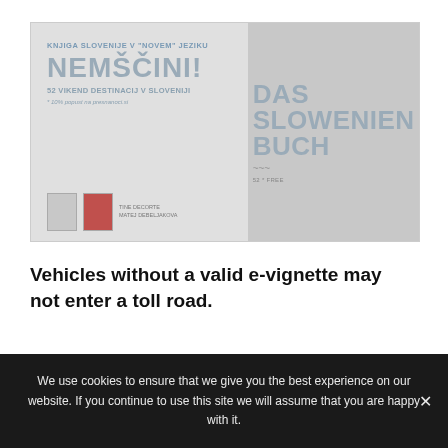[Figure (illustration): Book advertisement showing two book covers for a Slovenia travel guidebook. Left panel shows Slovenian text 'KNJIGA SLOVENIJE V NEMSCINI!' with subtitle '52 VIKEND DESTINACIJ V SLOVENIJI' and a discount note, plus two small book thumbnails at bottom. Right panel shows the German version cover 'DAS SLOWENIEN BUCH' in large grey bold letters on a darker grey background.]
Vehicles without a valid e-vignette may not enter a toll road.
We use cookies to ensure that we give you the best experience on our website. If you continue to use this site we will assume that you are happy with it.